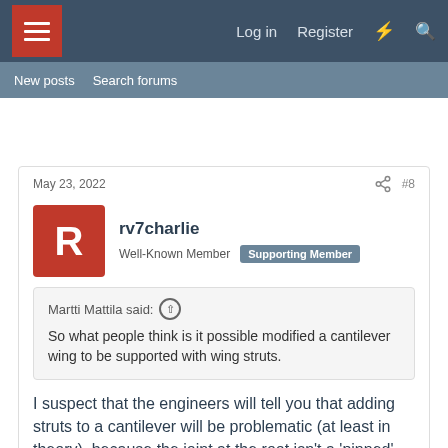≡  Log in  Register  ⚡  🔍
New posts  Search forums
May 23, 2022  #8
rv7charlie
Well-Known Member  Supporting Member
Martti Mattila said: ↑
So what people think is it possible modified a cantilever wing to be supported with wing struts.
I suspect that the engineers will tell you that adding struts to a cantilever will be problematic (at least in theory), because the joint at the root isn't a 'pinned' (single pivot point) joint.